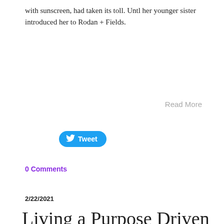with sunscreen, had taken its toll. Untl her younger sister introduced her to Rodan + Fields.
Read More
[Figure (other): Twitter Tweet button with bird icon]
0 Comments
2/22/2021
Living a Purpose Driven Life